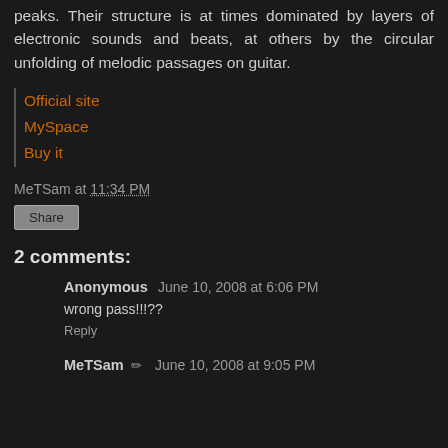peaks. Their structure is at times dominated by layers of electronic sounds and beats, at others by the circular unfolding of melodic passages on guitar.
Official site
MySpace
Buy it
MeTSam at 11:34 PM
Share
2 comments:
Anonymous June 10, 2008 at 6:06 PM
wrong pass!!!??
Reply
MeTSam June 10, 2008 at 9:05 PM